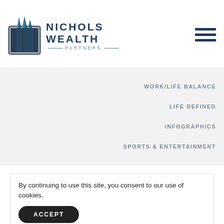[Figure (logo): Nichols Wealth Partners logo with stylized building/skyscraper icon and company name in dark blue uppercase letters]
WORK/LIFE BALANCE
LIFE DEFINED
INFOGRAPHICS
SPORTS & ENTERTAINMENT
By continuing to use this site, you consent to our use of cookies.
ACCEPT